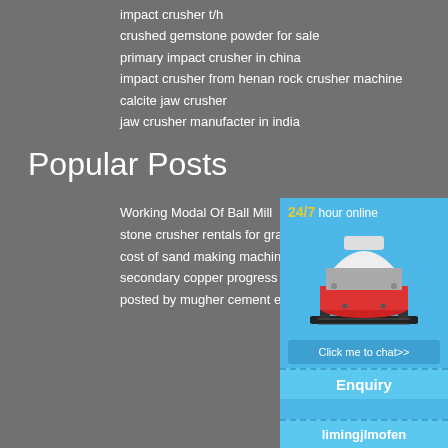impact crusher t/h
crushed gemstone powder for sale
primary impact crusher in china
impact crusher from henan rock crusher machine
calcite jaw crusher
jaw crusher manufacter in india
Popular Posts
Working Modal Of Ball Mill
stone crusher rentals for granite
cost of sand making machine prices
secondary copper progress
posted by mugher cement enterprise
[Figure (infographic): 24/7 hour online banner with cone crusher machine image, 'Click me to chat>>' button, 'Enquiry' section, and 'limingjlmofen' text on blue background sidebar]